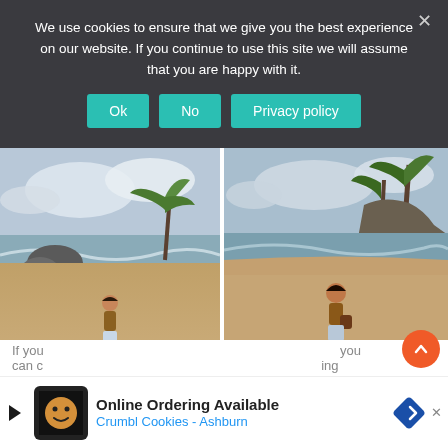We use cookies to ensure that we give you the best experience on our website. If you continue to use this site we will assume that you are happy with it.
[Figure (screenshot): Cookie consent banner with Ok, No, and Privacy policy buttons on dark background]
[Figure (photo): Two side-by-side photos of a young woman standing on a tropical beach with palm trees, rocks, ocean waves, and sandy shore]
If you … you can d… ing
[Figure (infographic): Advertisement bar: Online Ordering Available - Crumbl Cookies - Ashburn, with Crumbl logo and navigation arrow icon]